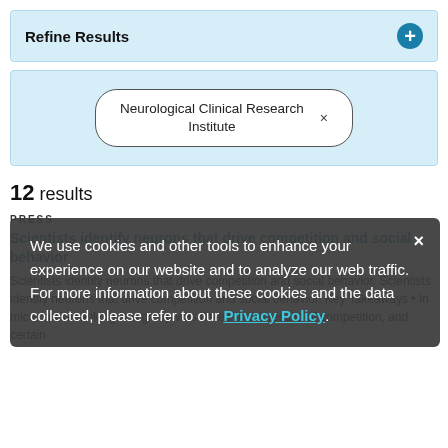Refine Results
Neurological Clinical Research Institute ×
12 results
PRESS
Scientists identify neurons that drive competition and social behavior
Scientists identify neurons that drive competition and social behavior. Scientists identify neurons that drive competition and social behavior. Key Takeaways • In mice, social ranking in a group was linked to the results of competition, and certain
We use cookies and other tools to enhance your experience on our website and to analyze our web traffic. For more information about these cookies and the data collected, please refer to our Privacy Policy.